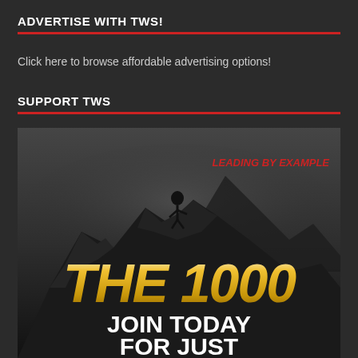ADVERTISE WITH TWS!
Click here to browse affordable advertising options!
SUPPORT TWS
[Figure (illustration): Promotional banner for 'The 1000' membership program. Shows a dark moody image of a figure climbing a rocky mountain peak with foggy background. Red italic text reads 'LEADING BY EXAMPLE' in upper right. Large gold italic text reads 'THE 1000' in the middle. White bold text at bottom reads 'JOIN TODAY FOR JUST'.]